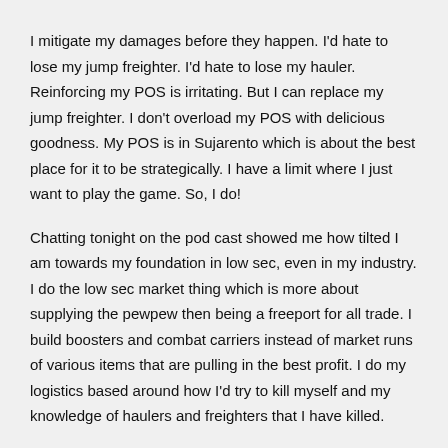I mitigate my damages before they happen. I'd hate to lose my jump freighter. I'd hate to lose my hauler. Reinforcing my POS is irritating. But I can replace my jump freighter. I don't overload my POS with delicious goodness. My POS is in Sujarento which is about the best place for it to be strategically. I have a limit where I just want to play the game. So, I do!
Chatting tonight on the pod cast showed me how tilted I am towards my foundation in low sec, even in my industry. I do the low sec market thing which is more about supplying the pewpew then being a freeport for all trade. I build boosters and combat carriers instead of market runs of various items that are pulling in the best profit. I do my logistics based around how I'd try to kill myself and my knowledge of haulers and freighters that I have killed.
My little frigate and cruiser blueprint project is also going very well. Most of the smaller blueprints are all trained up.  The mining I do during my mining characters down time goes to build these hulls. That means less hauling of small, super cheap hulls into low sec. I can just build and list from the station. It is a faction warfare system so frigate hulls move. Plus, teh flexability of the system is great. I can, from a distance ask a blueprint in one container to use